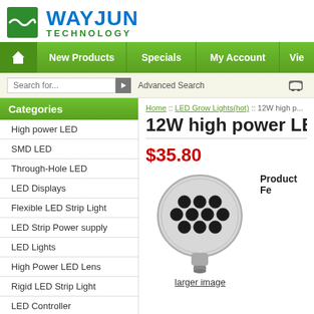[Figure (logo): Wayjun Technology logo with green wave icon and blue/green text]
New Products | Specials | My Account | View
Search for... Advanced Search
Categories
High power LED
SMD LED
Through-Hole LED
LED Displays
Flexible LED Strip Light
LED Strip Power supply
LED Lights
High Power LED Lens
Rigid LED Strip Light
LED Controller
LED Modules
LED Flood Light
Home :: LED Grow Lights(hot) :: 12W high p...
12W high power LE...
$35.80
[Figure (photo): 12W high power LED grow light bulb with multiple LED chips]
larger image
Product Fe...